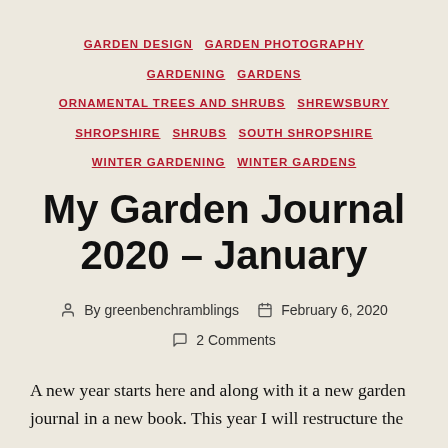GARDEN DESIGN  GARDEN PHOTOGRAPHY  GARDENING  GARDENS  ORNAMENTAL TREES AND SHRUBS  SHREWSBURY  SHROPSHIRE  SHRUBS  SOUTH SHROPSHIRE  WINTER GARDENING  WINTER GARDENS
My Garden Journal 2020 – January
By greenbenchramblings  February 6, 2020  2 Comments
A new year starts here and along with it a new garden journal in a new book. This year I will restructure the